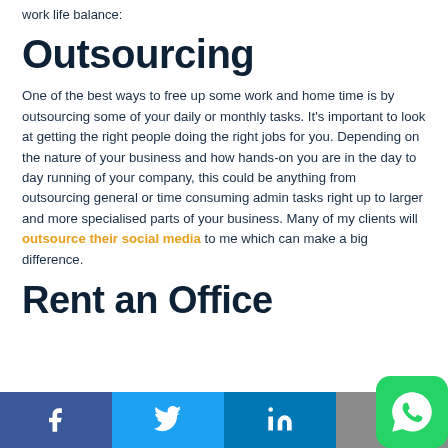work life balance:
Outsourcing
One of the best ways to free up some work and home time is by outsourcing some of your daily or monthly tasks. It’s important to look at getting the right people doing the right jobs for you. Depending on the nature of your business and how hands-on you are in the day to day running of your company, this could be anything from outsourcing general or time consuming admin tasks right up to larger and more specialised parts of your business. Many of my clients will outsource their social media to me which can make a big difference.
Rent an Office